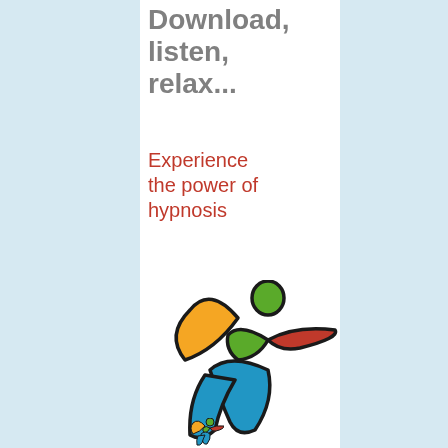Download, listen, relax...
Experience the power of hypnosis
[Figure (logo): Colorful abstract human figure logo with orange, green, red and blue wing/body shapes with black outlines, suggesting movement or flight]
[Figure (logo): Small version of the same colorful human figure logo at bottom center]